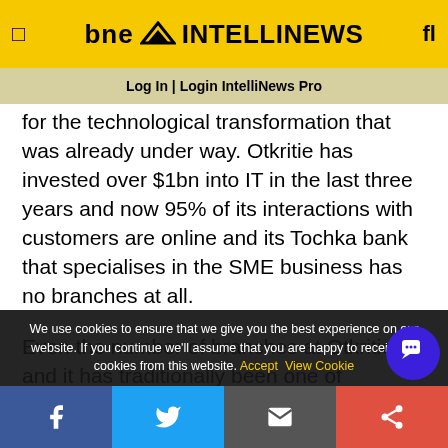bne INTELLINEWS
Log In | Login IntelliNews Pro
for the technological transformation that was already under way. Otkritie has invested over $1bn into IT in the last three years and now 95% of its interactions with customers are online and its Tochka bank that specialises in the SME business has no branches at all.
Even the number of branches at Otkritie – and it has traditionally been one of Russia's strongest retail banks – has been falling from 750 branches in 2018
We use cookies to ensure that we give you the best experience on our website. If you continue we'll assume that you are happy to receive all cookies from this website. Accept  View Cookie